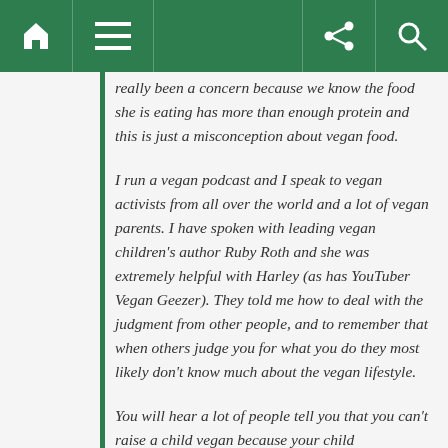[navigation bar with home, menu, share, and search icons]
really been a concern because we know the food she is eating has more than enough protein and this is just a misconception about vegan food.
I run a vegan podcast and I speak to vegan activists from all over the world and a lot of vegan parents. I have spoken with leading vegan children's author Ruby Roth and she was extremely helpful with Harley (as has YouTuber Vegan Geezer). They told me how to deal with the judgment from other people, and to remember that when others judge you for what you do they most likely don't know much about the vegan lifestyle.
You will hear a lot of people tell you that you can't raise a child vegan because your child